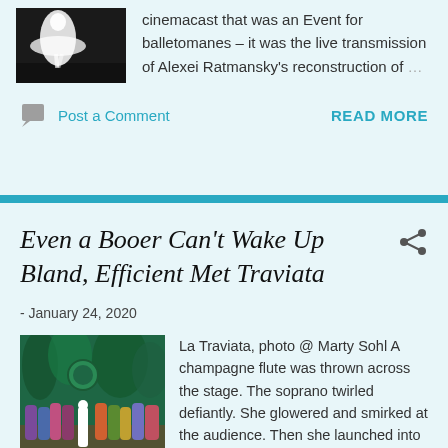[Figure (photo): Ballet dancer in white dress on dark stage]
cinemacast that was an Event for balletomanes – it was the live transmission of Alexei Ratmansky's reconstruction of …
Post a Comment
READ MORE
Even a Booer Can't Wake Up Bland, Efficient Met Traviata
- January 24, 2020
[Figure (photo): La Traviata opera stage scene with colorful costumes and elaborate set]
La Traviata, photo @ Marty Sohl A champagne flute was thrown across the stage. The soprano twirled defiantly. She glowered and smirked at the audience. Then she launched into "Sempre libera" and …